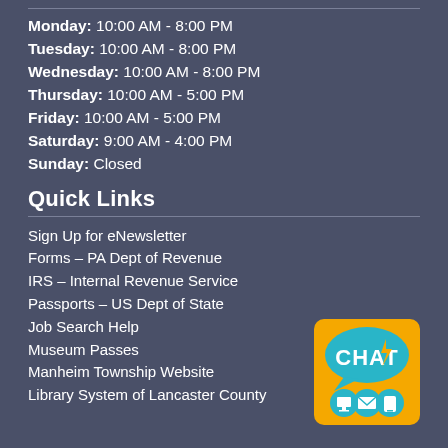Monday:  10:00 AM - 8:00 PM
Tuesday:  10:00 AM - 8:00 PM
Wednesday:  10:00 AM - 8:00 PM
Thursday:  10:00 AM - 5:00 PM
Friday:  10:00 AM - 5:00 PM
Saturday:  9:00 AM - 4:00 PM
Sunday:  Closed
Quick Links
Sign Up for eNewsletter
Forms – PA Dept of Revenue
IRS – Internal Revenue Service
Passports – US Dept of State
Job Search Help
Museum Passes
Manheim Township Website
Library System of Lancaster County
[Figure (logo): CHAT badge/button with speech bubble, document, email, and phone icons on an orange/yellow background]